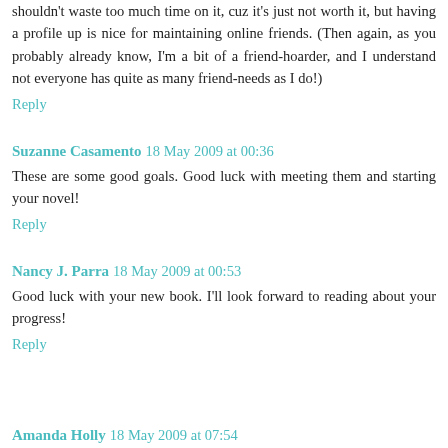shouldn't waste too much time on it, cuz it's just not worth it, but having a profile up is nice for maintaining online friends. (Then again, as you probably already know, I'm a bit of a friend-hoarder, and I understand not everyone has quite as many friend-needs as I do!)
Reply
Suzanne Casamento  18 May 2009 at 00:36
These are some good goals. Good luck with meeting them and starting your novel!
Reply
Nancy J. Parra  18 May 2009 at 00:53
Good luck with your new book. I'll look forward to reading about your progress!
Reply
Amanda Holly  18 May 2009 at 07:54